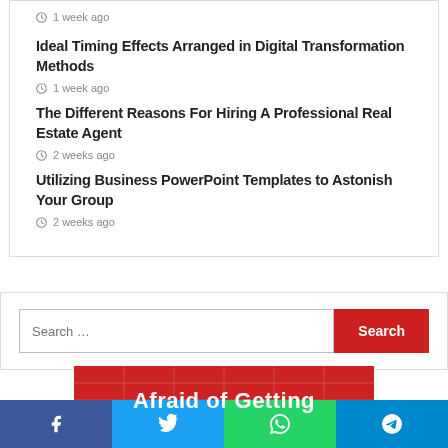1 week ago
Ideal Timing Effects Arranged in Digital Transformation Methods
1 week ago
The Different Reasons For Hiring A Professional Real Estate Agent
2 weeks ago
Utilizing Business PowerPoint Templates to Astonish Your Group
2 weeks ago
Search …
Afraid of Getting
Social share bar: Facebook, Twitter, WhatsApp, Telegram